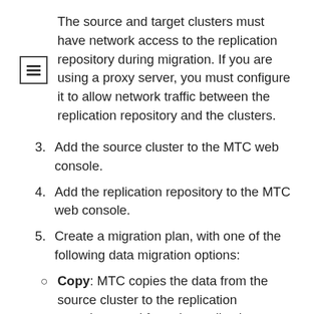The source and target clusters must have network access to the replication repository during migration. If you are using a proxy server, you must configure it to allow network traffic between the replication repository and the clusters.
3. Add the source cluster to the MTC web console.
4. Add the replication repository to the MTC web console.
5. Create a migration plan, with one of the following data migration options:
Copy: MTC copies the data from the source cluster to the replication repository, and from the replication repository to the target